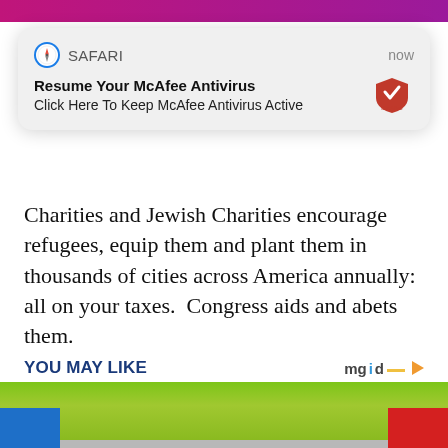[Figure (screenshot): Safari browser notification popup saying 'Resume Your McAfee Antivirus' with subtitle 'Click Here To Keep McAfee Antivirus Active' and McAfee shield logo on right, timestamped 'now']
Charities and Jewish Charities encourage refugees, equip them and plant them in thousands of cities across America annually: all on your taxes.  Congress aids and abets them.
YOU MAY LIKE
[Figure (screenshot): Bottom section showing a person with green hair, partially visible. An ad popup overlay shows a photo of Willie Nelson with text 'A Tragic End Today For Willie Nelson' and 'Breaking News' tag. Blue and red buttons visible at bottom corners.]